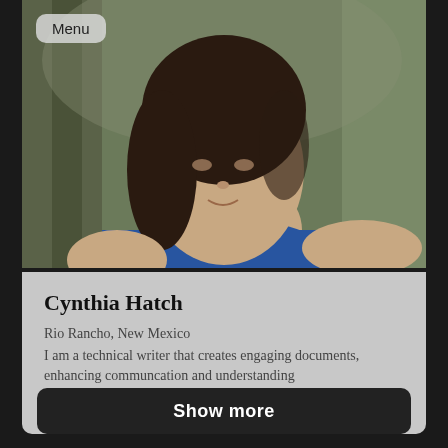[Figure (photo): Headshot photo of Cynthia Hatch, a woman with dark hair wearing a blue top, posed in front of a tree]
Menu
Cynthia Hatch
Rio Rancho, New Mexico
I am a technical writer that creates engaging documents, enhancing communcation and understanding
Writing and Editing
Show more